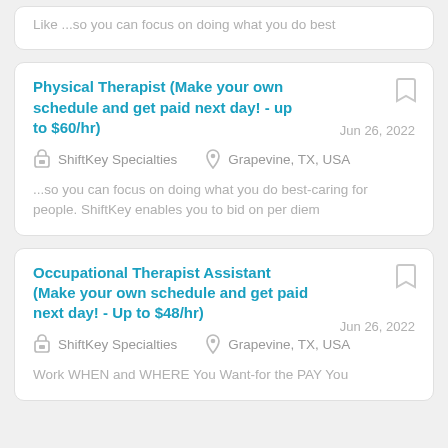Like ...so you can focus on doing what you do best
Physical Therapist (Make your own schedule and get paid next day! - up to $60/hr)
Jun 26, 2022
ShiftKey Specialties
Grapevine, TX, USA
...so you can focus on doing what you do best-caring for people. ShiftKey enables you to bid on per diem
Occupational Therapist Assistant (Make your own schedule and get paid next day! - Up to $48/hr)
Jun 26, 2022
ShiftKey Specialties
Grapevine, TX, USA
Work WHEN and WHERE You Want-for the PAY You